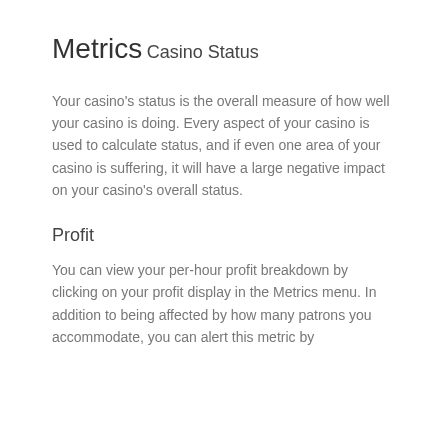Metrics
Casino Status
Your casino's status is the overall measure of how well your casino is doing. Every aspect of your casino is used to calculate status, and if even one area of your casino is suffering, it will have a large negative impact on your casino's overall status.
Profit
You can view your per-hour profit breakdown by clicking on your profit display in the Metrics menu. In addition to being affected by how many patrons you accommodate, you can alert this metric by